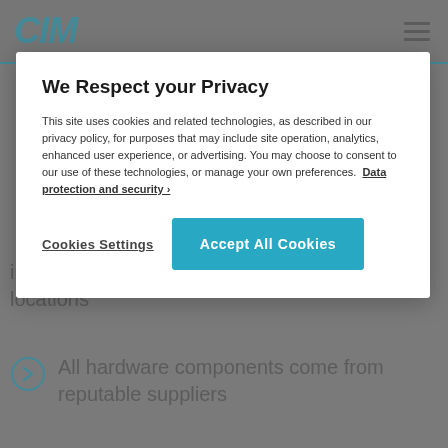CIM
We Respect your Privacy
This site uses cookies and related technologies, as described in our privacy policy, for purposes that may include site operation, analytics, enhanced user experience, or advertising. You may choose to consent to our use of these technologies, or manage your own preferences. Data protection and security ›
Cookies Settings
Accept All Cookies
information is stored on several geographical locations
All hardware components come from reputable suppliers